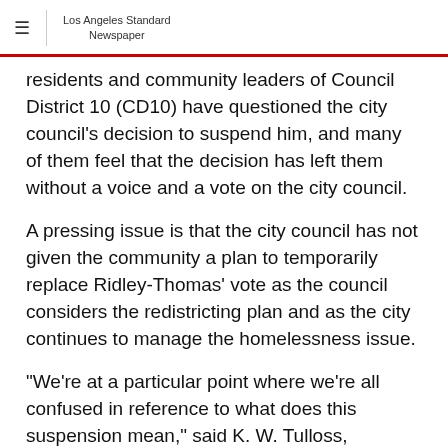Los Angeles Standard Newspaper
residents and community leaders of Council District 10 (CD10) have questioned the city council's decision to suspend him, and many of them feel that the decision has left them without a voice and a vote on the city council.
A pressing issue is that the city council has not given the community a plan to temporarily replace Ridley-Thomas' vote as the council considers the redistricting plan and as the city continues to manage the homelessness issue.
"We're at a particular point where we're all confused in reference to what does this suspension mean," said K. W. Tulloss, president of the Baptist Ministers Conference of Los Angeles and Southern California.  "Does it mean that his staff that is currently providing these services will continue in their positions?  But I think that the most